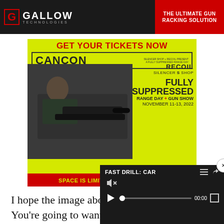[Figure (photo): Gallow Technologies banner ad with red and black design. Left side shows logo and company name, right side shows 'THE ULTIMATE GUN RACKING SOLUTION' in white text on red background.]
[Figure (photo): CANCON advertisement on yellow-green background. Features man aiming suppressed rifle. Text: GET YOUR TICKETS NOW, CANCON, FULLY SUPPRESSED RANGE DAY + GUN SHOW, NOVEMBER 11-13 2022, SPACE IS LIMITED. DON'T MISS OUT!]
I hope the image above got your attention. You're going to want to look at this guy's work. I was going to describe it as amazing but that seemed like a pretty anemic word so I discarded it. A quick cycle through the thesaurus suggested astonishing, su and extraordinary, but nom capture the essence of my
[Figure (screenshot): Video player overlay showing 'FAST DRILL: CAR' with muted speaker icon, play button, progress bar at 00:00, and fullscreen button. Dark background.]